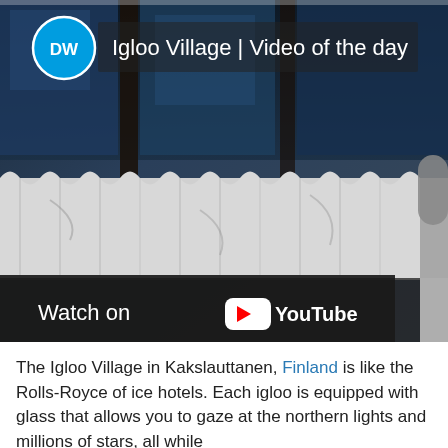[Figure (screenshot): YouTube video thumbnail showing an igloo interior with glass ceiling and white curtain walls. DW logo (blue circle with DW text) in top left, title 'Igloo Village | Video of the day' in white text. A 'Watch on YouTube' overlay bar at the bottom with YouTube logo. Dark toned image showing blue-lit glass panels and white draped fabric walls.]
The Igloo Village in Kakslauttanen, Finland is like the Rolls-Royce of ice hotels. Each igloo is equipped with glass that allows you to gaze at the northern lights and millions of stars, all while